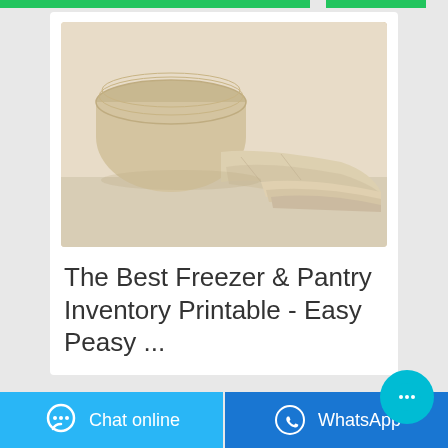[Figure (photo): Photo of cream/beige colored fabric cloths or reusable wipes, stacked and rolled]
The Best Freezer & Pantry Inventory Printable - Easy Peasy ...
[Figure (other): Chat online button with speech bubble icon (light blue)]
[Figure (other): WhatsApp button with WhatsApp logo icon (dark blue)]